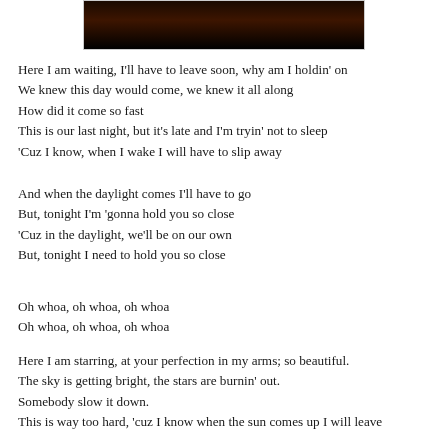[Figure (photo): Dark image at top, appears to be a night scene with dim reddish-orange light]
Here I am waiting, I'll have to leave soon, why am I holdin' on
We knew this day would come, we knew it all along
How did it come so fast
This is our last night, but it's late and I'm tryin' not to sleep
'Cuz I know, when I wake I will have to slip away
And when the daylight comes I'll have to go
But, tonight I'm 'gonna hold you so close
'Cuz in the daylight, we'll be on our own
But, tonight I need to hold you so close
Oh whoa, oh whoa, oh whoa
Oh whoa, oh whoa, oh whoa
Here I am starring, at your perfection in my arms; so beautiful.
The sky is getting bright, the stars are burnin' out.
Somebody slow it down.
This is way too hard, 'cuz I know when the sun comes up I will leave